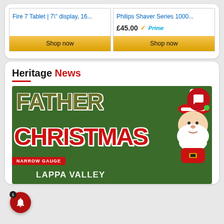[Figure (screenshot): Amazon product listing cards showing 'Fire 7 Tablet | 7 display, 16...' and 'Philips Shaver Series 1000...' at £45.00 with Prime badge and Shop now buttons]
Heritage News
[Figure (photo): Father Christmas at Lappa Valley promotional image with Father Christmas text in olive/red on green background and Santa Claus illustration, Narrow Gauge badge, and LAPPA VALLEY text at bottom]